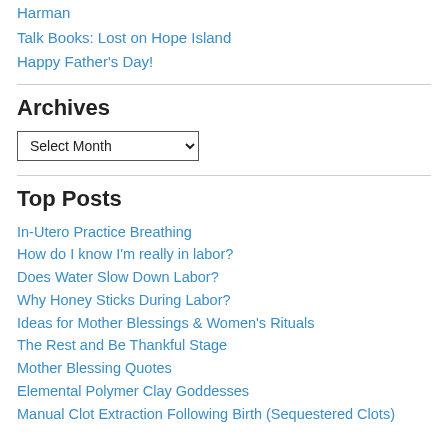Harman
Talk Books: Lost on Hope Island
Happy Father's Day!
Archives
Select Month (dropdown)
Top Posts
In-Utero Practice Breathing
How do I know I'm really in labor?
Does Water Slow Down Labor?
Why Honey Sticks During Labor?
Ideas for Mother Blessings & Women's Rituals
The Rest and Be Thankful Stage
Mother Blessing Quotes
Elemental Polymer Clay Goddesses
Manual Clot Extraction Following Birth (Sequestered Clots)